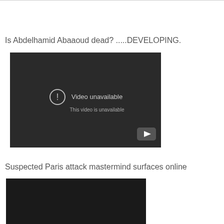Is Abdelhamid Abaaoud dead? .....DEVELOPING.
[Figure (screenshot): Embedded video player showing 'Video unavailable - This video is unavailable' message with YouTube logo, dark background]
Suspected Paris attack mastermind surfaces online
[Figure (screenshot): Embedded video player, dark/black content area, partially cropped]